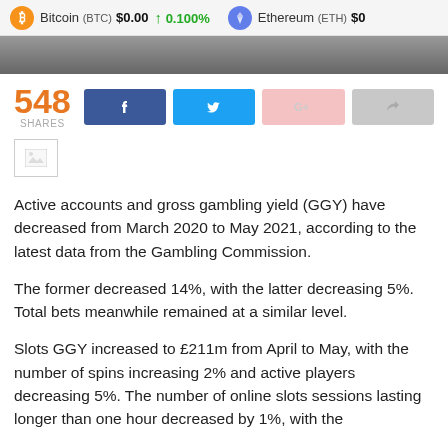Bitcoin (BTC) $0.00 ↑ 0.100%   Ethereum (ETH) $0
[Figure (photo): Partial image visible at top of content area, appears to be a gambling-related photo]
548 SHARES
[Figure (other): Broken/placeholder image icon]
Active accounts and gross gambling yield (GGY) have decreased from March 2020 to May 2021, according to the latest data from the Gambling Commission.
The former decreased 14%, with the latter decreasing 5%. Total bets meanwhile remained at a similar level.
Slots GGY increased to £211m from April to May, with the number of spins increasing 2% and active players decreasing 5%. The number of online slots sessions lasting longer than one hour decreased by 1%, with the